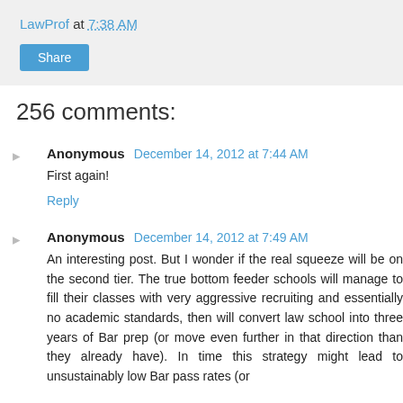LawProf at 7:38 AM
Share
256 comments:
Anonymous  December 14, 2012 at 7:44 AM
First again!
Reply
Anonymous  December 14, 2012 at 7:49 AM
An interesting post. But I wonder if the real squeeze will be on the second tier. The true bottom feeder schools will manage to fill their classes with very aggressive recruiting and essentially no academic standards, then will convert law school into three years of Bar prep (or move even further in that direction than they already have). In time this strategy might lead to unsustainably low Bar pass rates (or